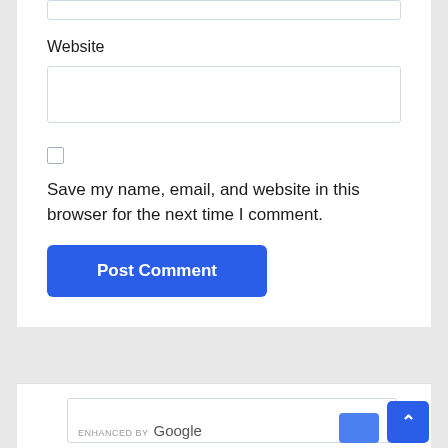Website
[Figure (screenshot): Empty website text input field]
[Figure (screenshot): Unchecked checkbox]
Save my name, email, and website in this browser for the next time I comment.
[Figure (screenshot): Post Comment button - blue rounded rectangle]
[Figure (screenshot): Bottom section with Google search bar and scroll-to-top button]